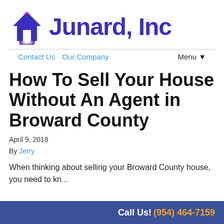[Figure (logo): Junard, Inc logo with a house icon featuring a purple half-circle and pink accent lines, next to the text 'Junard, Inc' in dark blue/purple bold font.]
Contact Us   Our Company   Menu ▼
How To Sell Your House Without An Agent in Broward County
April 9, 2018
By Jerry
When thinking about selling your Broward County house, you need to kn...
Call Us! (954) 464-7159